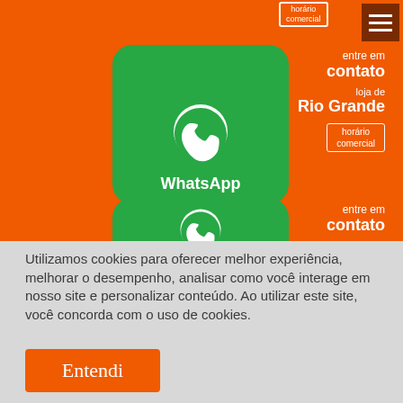[Figure (screenshot): Orange background section with WhatsApp contact cards for store locations. Shows two green WhatsApp icon buttons with contact info text reading 'entre em contato', 'loja de Rio Grande', and 'horário comercial' bracket labels. Dark red hamburger menu icon in top right corner.]
Utilizamos cookies para oferecer melhor experiência, melhorar o desempenho, analisar como você interage em nosso site e personalizar conteúdo. Ao utilizar este site, você concorda com o uso de cookies.
Entendi